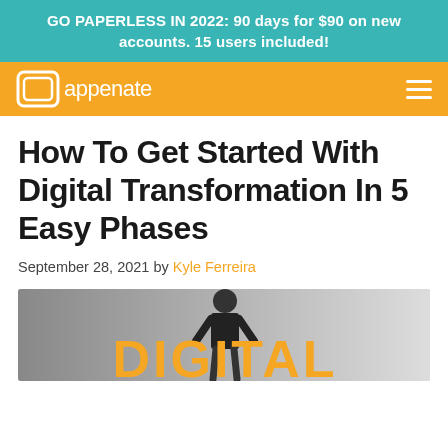GO PAPERLESS IN 2022: 90 days for $90 on new accounts. 15 users included!
[Figure (logo): Appenate logo on orange navigation bar with hamburger menu icon]
How To Get Started With Digital Transformation In 5 Easy Phases
September 28, 2021 by Kyle Ferreira
[Figure (photo): Person in suit holding a sign with bold orange DIGITAL text, representing digital transformation article hero image]